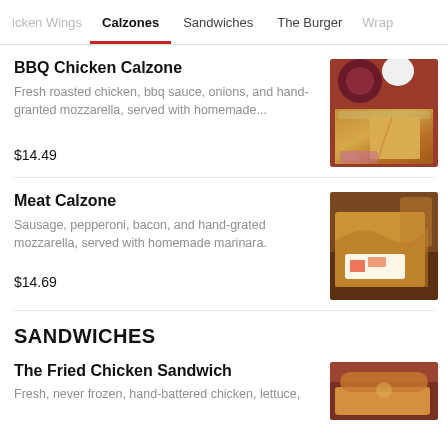icken Wings | Calzones | Sandwiches | The Burger | Wrap
BBQ Chicken Calzone
Fresh roasted chicken, bbq sauce, onions, and hand-granted mozzarella, served with homemade...
$14.49
[Figure (photo): BBQ Chicken Calzone food photo with red onion and white sauce on wooden board]
Meat Calzone
Sausage, pepperoni, bacon, and hand-grated mozzarella, served with homemade marinara.
$14.69
[Figure (photo): Meat Calzone food photo showing sliced calzone on white plate with drink in background]
SANDWICHES
The Fried Chicken Sandwich
Fresh, never frozen, hand-battered chicken, lettuce,
[Figure (photo): The Fried Chicken Sandwich food photo partially visible at bottom of page]